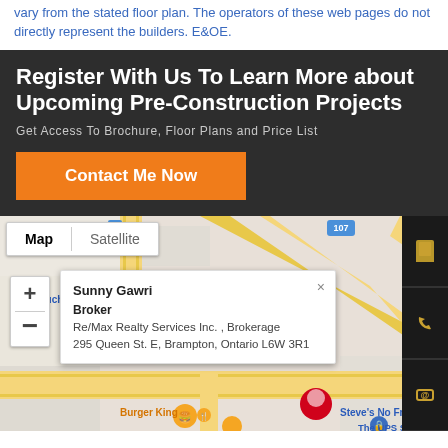vary from the stated floor plan. The operators of these web pages do not directly represent the builders. E&OE.
Register With Us To Learn More about Upcoming Pre-Construction Projects
Get Access To Brochure, Floor Plans and Price List
Contact Me Now
[Figure (map): Google Maps screenshot showing Map/Satellite toggle, zoom controls, info popup for 'Sunny Gawri Broker, Re/Max Realty Services Inc., Brokerage, 295 Queen St. E, Brampton, Ontario L6W 3R1', with nearby labels: 'And Couch', 'Burger King', 'Steve's No Frills', 'The UPS Store', red location pin, orange restaurant pins, and right sidebar with phone/email icons.]